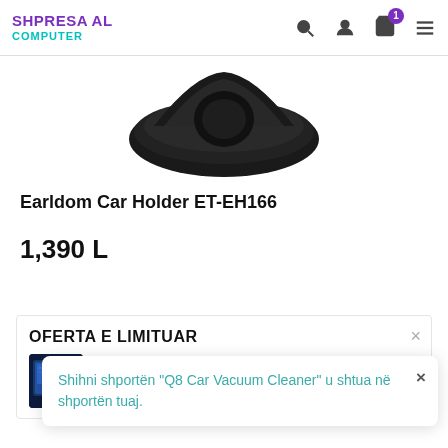SHPRESA AL COMPUTER
[Figure (photo): Product photo showing bottom part of a black Earldom Car Holder ET-EH166]
Earldom Car Holder ET-EH166
1,390 L
OFERTA E LIMITUAR
[Figure (photo): Small thumbnail of a tablet product (TCL Tab) with 'OFERTË ONLINE' badge]
Shihni shportën "Q8 Car Vacuum Cleaner" u shtua në shportën tuaj.